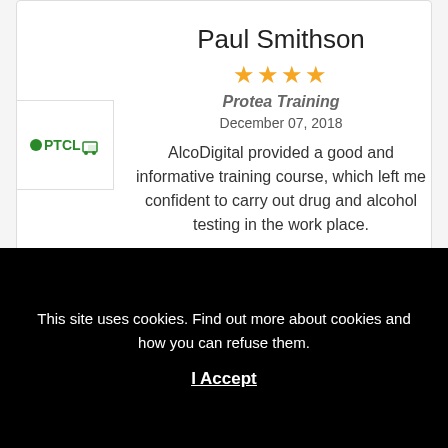Paul Smithson
[Figure (other): 4 gold stars rating]
Protea Training
December 07, 2018
[Figure (logo): PTCL logo in green]
AlcoDigital provided a good and informative training course, which left me confident to carry out drug and alcohol testing in the work place.
I have known AlcoDigital since 2016 and I have been on a training...
This site uses cookies. Find out more about cookies and how you can refuse them.
I Accept